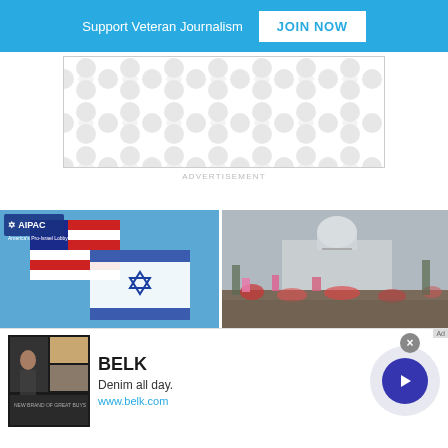Support Veteran Journalism  JOIN NOW
[Figure (other): Advertisement placeholder with decorative circular/oval pattern in light gray on white background]
ADVERTISEMENT
[Figure (photo): Left image: AIPAC logo with American and Israeli flags waving against a blue sky]
[Figure (photo): Right image: Large crowd gathered on a street with the US Capitol building visible in the background]
[Figure (other): Bottom advertisement banner for BELK: Denim all day. www.belk.com — with fashion imagery and a navigation arrow button]